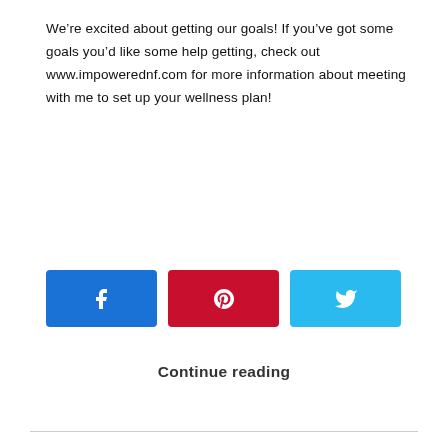We're excited about getting our goals! If you've got some goals you'd like some help getting, check out www.impowerednf.com for more information about meeting with me to set up your wellness plan!
[Figure (other): Three social share buttons: Facebook (blue), Pinterest (red), Twitter (light blue), each with their respective icons]
Continue reading